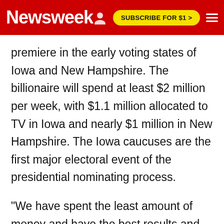Newsweek | SUBSCRIBE FOR $1 >
premiere in the early voting states of Iowa and New Hampshire. The billionaire will spend at least $2 million per week, with $1.1 million allocated to TV in Iowa and nearly $1 million in New Hampshire. The Iowa caucuses are the first major electoral event of the presidential nominating process.
"We have spent the least amount of money and have the best results and this is the kind of thinking the country needs," Trump said Monday in a statement. "I am very proud of